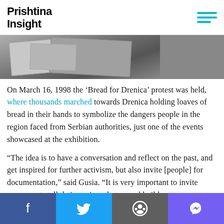Prishtina Insight
[Figure (photo): Newspaper clippings and photographs arranged on a surface]
On March 16, 1998 the ‘Bread for Drenica’ protest was held, where thousands marched towards Drenica holding loaves of bread in their hands to symbolize the dangers people in the region faced from Serbian authorities, just one of the events showcased at the exhibition.
“The idea is to have a conversation and reflect on the past, and get inspired for further activism, but also invite [people] for documentation,” said Gusia. “It is very important to invite everyone to tell their stories, photos, and build a common history, and to remember and reflect so that wars and crimes do not happen anymore. It is very important to remember for that